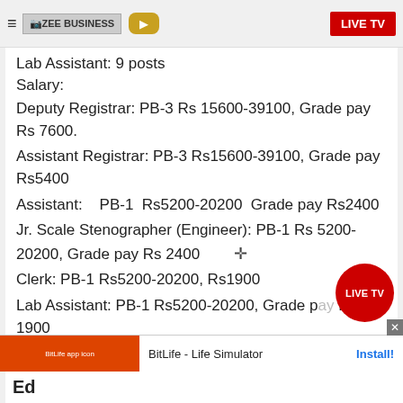ZEE BUSINESS | LIVE TV
Lab Assistant: 9 posts
Salary:
Deputy Registrar: PB-3 Rs 15600-39100, Grade pay Rs 7600.
Assistant Registrar: PB-3 Rs15600-39100, Grade pay Rs5400
Assistant: PB-1 Rs5200-20200 Grade pay Rs2400
Jr. Scale Stenographer (Engineer): PB-1 Rs 5200-20200, Grade pay Rs 2400
Clerk: PB-1 Rs5200-20200, Rs1900
Lab Assistant: PB-1 Rs5200-20200, Grade pay RS 1900
Ed...